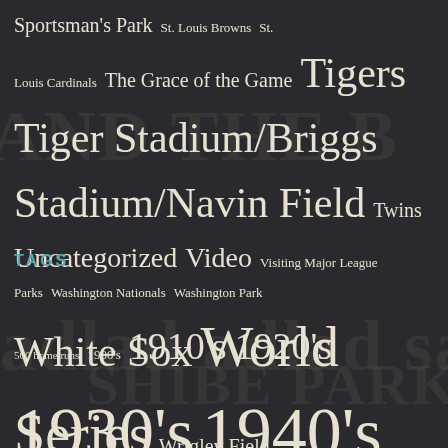Sportsman's Park  St. Louis Browns  St. Louis Cardinals  The Grace of the Game  Tigers  Tiger Stadium/Briggs Stadium/Navin Field  Twins  Uncategorized  Video  Visiting Major League Parks  Washington Nationals  Washington Park  White Sox  World Series  Wrigley Field  Yankees  Yankee Stadium
TAGS
500 home runs  1900's  1910's  1920's  1930's  1940's  1950's  1960's  1970's  1980's  2000's  Ace Adams  Al Barlick